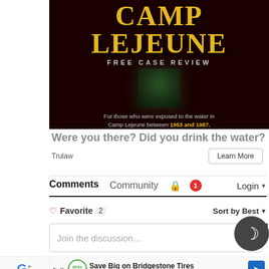[Figure (photo): Advertisement banner for Camp Lejeune Free Case Review. Dark red/black background with large yellow distressed text 'CAMP LEJEUNE' at top. Below reads 'FREE CASE REVIEW' in white spaced letters. Center shows a dark green glass of water. Bottom text: 'For those who were exposed to the water in Camp Lejeune between 1953 and 1987.' with dates in yellow.]
Were you there? Did you drink the water?
Trulaw
Learn More
Comments   Community   🔒   1   Login ▼
♡ Favorite 2   Sort by Best ▼
Join the discussion…
Close
[Figure (infographic): Dark circular moon/night mode toggle button with crescent moon icon]
[Figure (infographic): Bottom advertisement: 'Save Big on Bridgestone Tires' with VirginiaTire & Auto of Ashburn Fa. logo and navigation/directions icon]